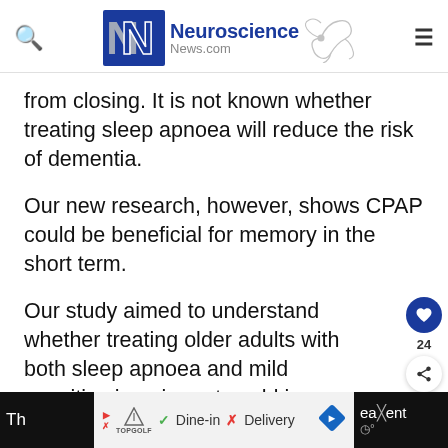Neuroscience News.com
from closing. It is not known whether treating sleep apnoea will reduce the risk of dementia.
Our new research, however, shows CPAP could be beneficial for memory in the short term.
Our study aimed to understand whether treating older adults with both sleep apnoea and mild cognitive impairment could improve thinking and memory skills in the short term.
[Figure (screenshot): Advertisement bar at bottom of page showing TopGolf ad with Dine-in and Delivery options]